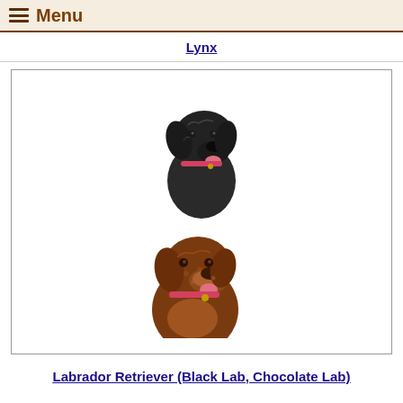Menu
Lynx
[Figure (illustration): Two illustrated dog portraits stacked vertically: top is a black Labrador Retriever with pink tongue, bottom is a chocolate Labrador Retriever with pink tongue, both wearing collars, rendered in pencil/watercolor style.]
Labrador Retriever (Black Lab, Chocolate Lab)